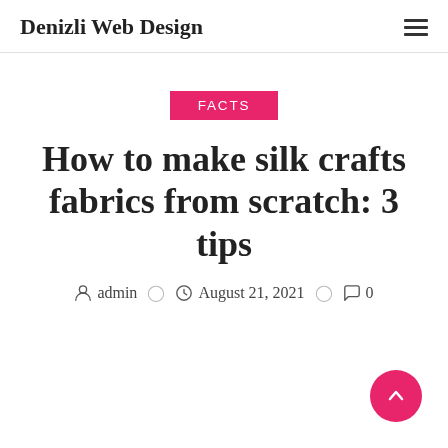Denizli Web Design
FACTS
How to make silk crafts fabrics from scratch: 3 tips
admin  August 21, 2021  0